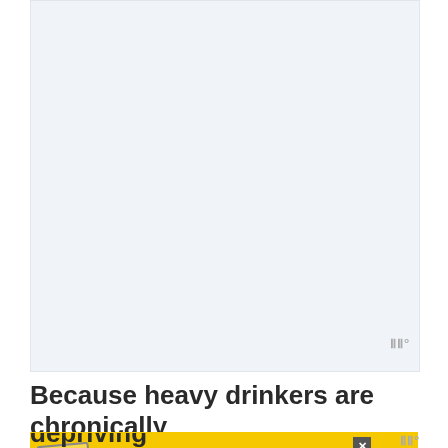[Figure (photo): Large light-colored image placeholder area (photo content not visible, appears as a light blue-gray rectangle)]
Because heavy drinkers are chronically
[Figure (infographic): Advertisement banner: yellow background with a stamp logo, text reading 'It's okay to question. Now get the facts on COVID-19 vaccines' with GetVaccineAnswers.org button and a close X button]